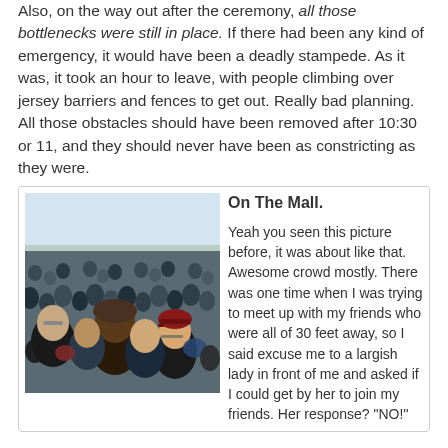Also, on the way out after the ceremony, all those bottlenecks were still in place. If there had been any kind of emergency, it would have been a deadly stampede. As it was, it took an hour to leave, with people climbing over jersey barriers and fences to get out. Really bad planning. All those obstacles should have been removed after 10:30 or 11, and they should never have been as constricting as they were.
[Figure (photo): Large crowd of people gathered outdoors on The Mall, densely packed, wearing winter coats and hats, bare trees visible in background, overcast sky.]
On The Mall.
Yeah you seen this picture before, it was about like that. Awesome crowd mostly. There was one time when I was trying to meet up with my friends who were all of 30 feet away, so I said excuse me to a largish lady in front of me and asked if I could get by her to join my friends. Her response? "NO!"